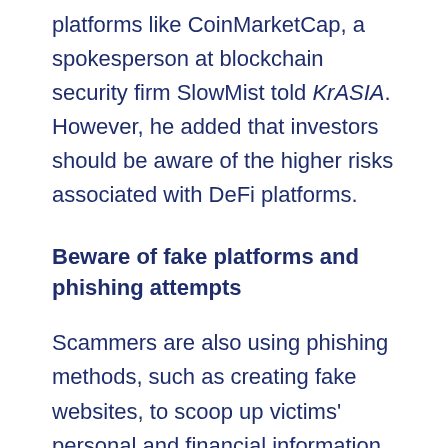platforms like CoinMarketCap, a spokesperson at blockchain security firm SlowMist told KrASIA. However, he added that investors should be aware of the higher risks associated with DeFi platforms.
Beware of fake platforms and phishing attempts
Scammers are also using phishing methods, such as creating fake websites, to scoop up victims' personal and financial information, Goh said.